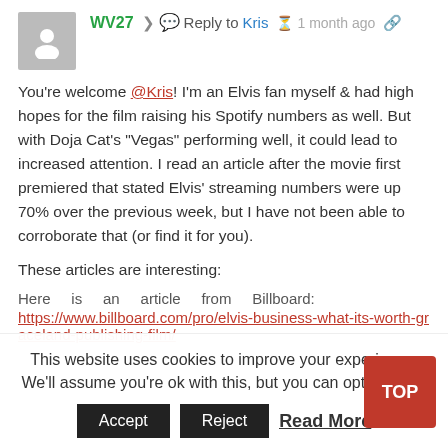WV27  Reply to Kris  1 month ago
You're welcome @Kris! I'm an Elvis fan myself & had high hopes for the film raising his Spotify numbers as well. But with Doja Cat's "Vegas" performing well, it could lead to increased attention. I read an article after the movie first premiered that stated Elvis' streaming numbers were up 70% over the previous week, but I have not been able to corroborate that (or find it for you).
These articles are interesting:
Here is an article from Billboard: https://www.billboard.com/pro/elvis-business-what-its-worth-graceland-publishing-film/
This website uses cookies to improve your experience. We'll assume you're ok with this, but you can opt-out if you wish.